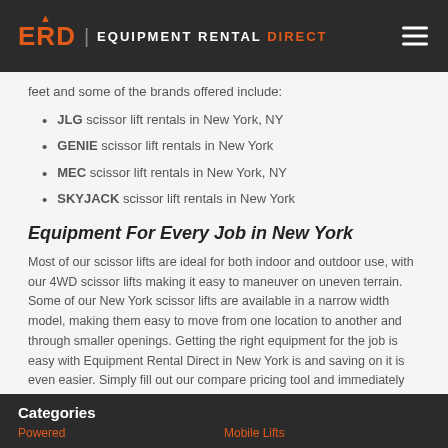ERD | EQUIPMENT RENTAL DIRECT
feet and some of the brands offered include:
JLG scissor lift rentals in New York, NY
GENIE scissor lift rentals in New York
MEC scissor lift rentals in New York, NY
SKYJACK scissor lift rentals in New York
Equipment For Every Job in New York
Most of our scissor lifts are ideal for both indoor and outdoor use, with our 4WD scissor lifts making it easy to maneuver on uneven terrain. Some of our New York scissor lifts are available in a narrow width model, making them easy to move from one location to another and through smaller openings. Getting the right equipment for the job is easy with Equipment Rental Direct in New York is and saving on it is even easier. Simply fill out our compare pricing tool and immediately get prices from all of our partners.
Categories